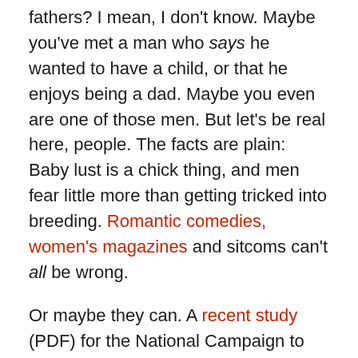fathers? I mean, I don't know. Maybe you've met a man who says he wanted to have a child, or that he enjoys being a dad. Maybe you even are one of those men. But let's be real here, people. The facts are plain: Baby lust is a chick thing, and men fear little more than getting tricked into breeding. Romantic comedies, women's magazines and sitcoms can't all be wrong.
Or maybe they can. A recent study (PDF) for the National Campaign to Prevent Teen and Unplanned Pregnancy surveyed 1,800 18-29-year-olds about pregnancy and found that their reactions to the prospect of an unplanned pregnancy were "staggeringly gendered" according to Amanda Hess of The Sexist. But " Guess which group is more likely to